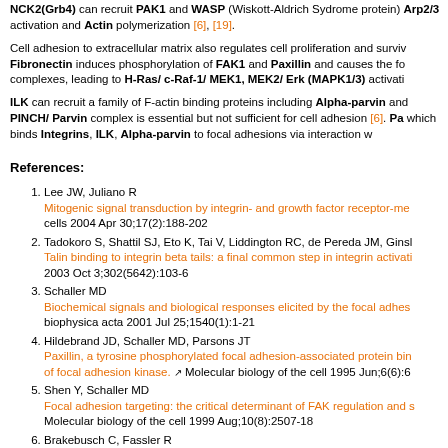NCK2(Grb4) can recruit PAK1 and WASP (Wiskott-Aldrich Sydrome protein) Arp2/3 activation and Actin polymerization [6], [19].
Cell adhesion to extracellular matrix also regulates cell proliferation and survival. Fibronectin induces phosphorylation of FAK1 and Paxillin and causes the formation of complexes, leading to H-Ras/ c-Raf-1/ MEK1, MEK2/ Erk (MAPK1/3) activation.
ILK can recruit a family of F-actin binding proteins including Alpha-parvin and PINCH/ Parvin complex is essential but not sufficient for cell adhesion [6]. Paxillin, which binds Integrins, ILK, Alpha-parvin to focal adhesions via interaction with...
References:
1. Lee JW, Juliano R — Mitogenic signal transduction by integrin- and growth factor receptor-mediated cells 2004 Apr 30;17(2):188-202
2. Tadokoro S, Shattil SJ, Eto K, Tai V, Liddington RC, de Pereda JM, Ginsberg — Talin binding to integrin beta tails: a final common step in integrin activation 2003 Oct 3;302(5642):103-6
3. Schaller MD — Biochemical signals and biological responses elicited by the focal adhesion kinase biophysica acta 2001 Jul 25;1540(1):1-21
4. Hildebrand JD, Schaller MD, Parsons JT — Paxillin, a tyrosine phosphorylated focal adhesion-associated protein of focal adhesion kinase. Molecular biology of the cell 1995 Jun;6(6):6
5. Shen Y, Schaller MD — Focal adhesion targeting: the critical determinant of FAK regulation and s Molecular biology of the cell 1999 Aug;10(8):2507-18
6. Brakebusch C, Fassler R — The integrin-actin connection, an eternal love affair. The EMBO journal...